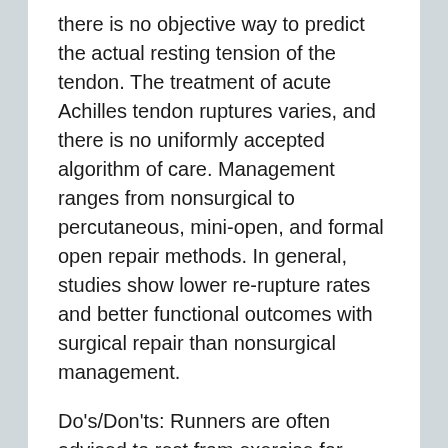there is no objective way to predict the actual resting tension of the tendon. The treatment of acute Achilles tendon ruptures varies, and there is no uniformly accepted algorithm of care. Management ranges from nonsurgical to percutaneous, mini-open, and formal open repair methods. In general, studies show lower re-rupture rates and better functional outcomes with surgical repair than nonsurgical management.
Do's/Don'ts: Runners are often advised to rest from exercise for varying periods when Achilles problems strike. As inflammation needs time to develop after the stressful activity has occurred, typically the pain will often not be felt for several hours after the activity, classically on getting up